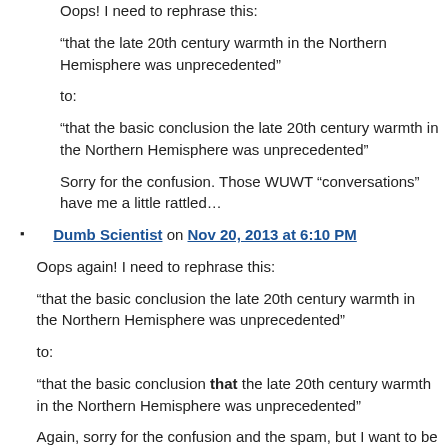Oops! I need to rephrase this:
“that the late 20th century warmth in the Northern Hemisphere was unprecedented”
to:
“that the basic conclusion the late 20th century warmth in the Northern Hemisphere was unprecedented”
Sorry for the confusion. Those WUWT “conversations” have me a little rattled…
Dumb Scientist on Nov 20, 2013 at 6:10 PM
Oops again! I need to rephrase this:
“that the basic conclusion the late 20th century warmth in the Northern Hemisphere was unprecedented”
to:
“that the basic conclusion that the late 20th century warmth in the Northern Hemisphere was unprecedented”
Again, sorry for the confusion and the spam, but I want to be as clear as possible.